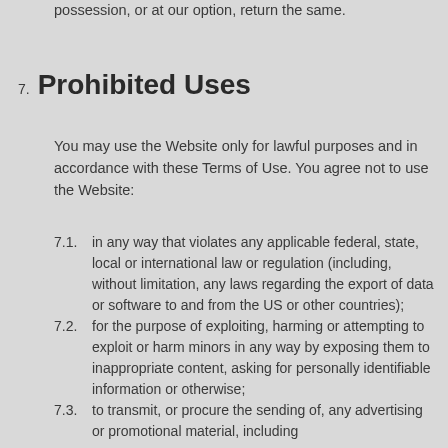possession, or at our option, return the same.
7. Prohibited Uses
You may use the Website only for lawful purposes and in accordance with these Terms of Use. You agree not to use the Website:
7.1. in any way that violates any applicable federal, state, local or international law or regulation (including, without limitation, any laws regarding the export of data or software to and from the US or other countries);
7.2. for the purpose of exploiting, harming or attempting to exploit or harm minors in any way by exposing them to inappropriate content, asking for personally identifiable information or otherwise;
7.3. to transmit, or procure the sending of, any advertising or promotional material, including